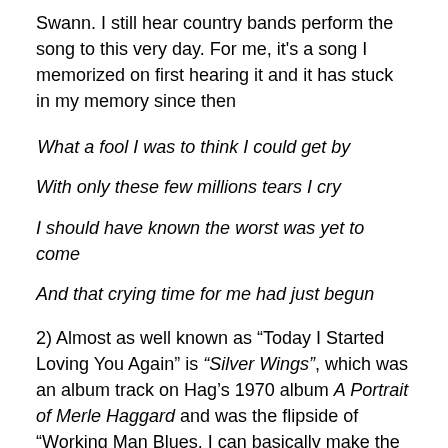Swann. I still hear country bands perform the song to this very day. For me, it's a song I memorized on first hearing it and it has stuck in my memory since then
What a fool I was to think I could get by
With only these few millions tears I cry
I should have known the worst was yet to come
And that crying time for me had just begun
2) Almost as well known as “Today I Started Loving You Again” is “Silver Wings”, which was an album track on Hag’s 1970 album A Portrait of Merle Haggard and was the flipside of “Working Man Blues. I can basically make the same comments about “Silver Wings” as I did about “Today I Started Loving You Again”. I heard the song from another radio but it was selected for Hag and